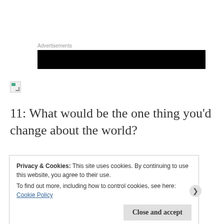Advertisements
[Figure (other): Advertisement banner block (black redacted area)]
[Figure (photo): Broken/unloaded image placeholder icon]
11: What would be the one thing you’d change about the world?
Privacy & Cookies: This site uses cookies. By continuing to use this website, you agree to their use.
To find out more, including how to control cookies, see here: Cookie Policy
Close and accept